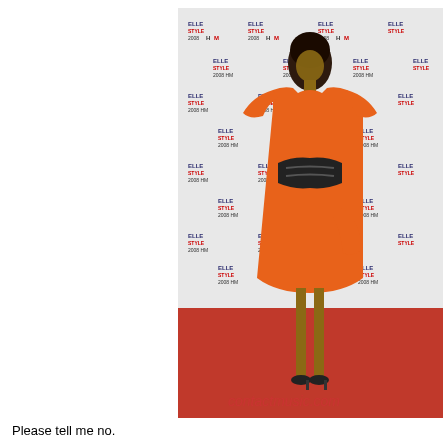[Figure (photo): A woman wearing an orange satin ruffle dress with a black belt, standing on a red carpet at the Elle Style Awards 2008 H&M event. The background shows a white step-and-repeat banner with 'ELLE STYLE 2008 H&M' logos repeated. A watermark reads 'contactmusic.com' at the bottom of the image.]
Please tell me no.